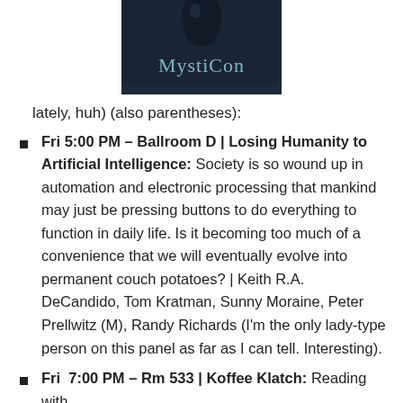[Figure (logo): MystiCon logo — dark background with stylized text 'MystiCon' in teal/light blue serif font, with a partial face/figure visible above]
lately, huh) (also parentheses):
Fri 5:00 PM – Ballroom D | Losing Humanity to Artificial Intelligence: Society is so wound up in automation and electronic processing that mankind may just be pressing buttons to do everything to function in daily life. Is it becoming too much of a convenience that we will eventually evolve into permanent couch potatoes? | Keith R.A. DeCandido, Tom Kratman, Sunny Moraine, Peter Prellwitz (M), Randy Richards (I'm the only lady-type person on this panel as far as I can tell. Interesting).
Fri  7:00 PM – Rm 533 | Koffee Klatch: Reading with